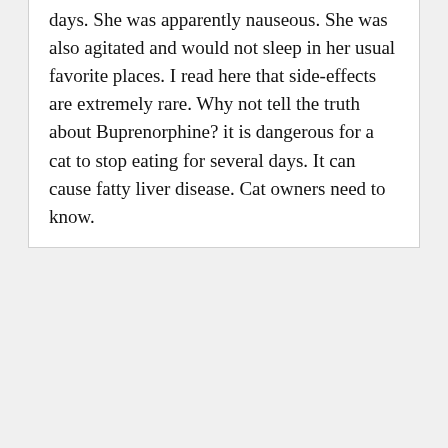days. She was apparently nauseous. She was also agitated and would not sleep in her usual favorite places. I read here that side-effects are extremely rare. Why not tell the truth about Buprenorphine? it is dangerous for a cat to stop eating for several days. It can cause fatty liver disease. Cat owners need to know.
Reply
We use cookies on our website to give you the most relevant experience by remembering your preferences and repeat visits. By clicking "Accept", you consent to the use of ALL the cookies.
ACCEPT
Dr. Chris Vanderhoof, DVM, MPH
NicePet... | 19 min
Hi Danielle,
Thanks for your comment. I'm sorry to hear of these experiences your kitties...